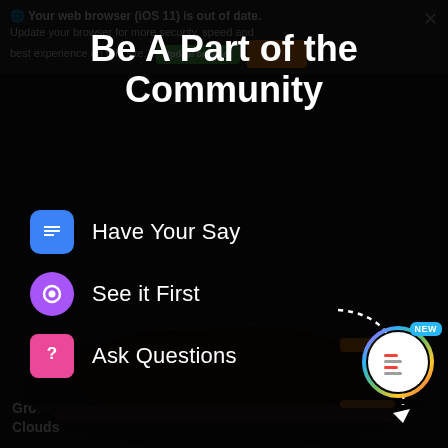Your web browser (iOS 11) is out of date. Update your browser for more security, speed and the best experience on this site.
Be A Part of the Community
[Figure (screenshot): Mobile app modal overlay on a dark sneaker product page. Shows a prompt to join a community with three feature items: 'Have Your Say' (blue chat icon), 'See it First' (purple eye icon), 'Ask Questions' (pink question mark icon). A dashed curved arrow points down-right. Bottom right has a circular 'NEW' badge with rainbow border and a mini icon.]
Have Your Say
See it First
Ask Questions
Gronk's Favorite "Dressy" Shoes Feel Like Walking on Clouds